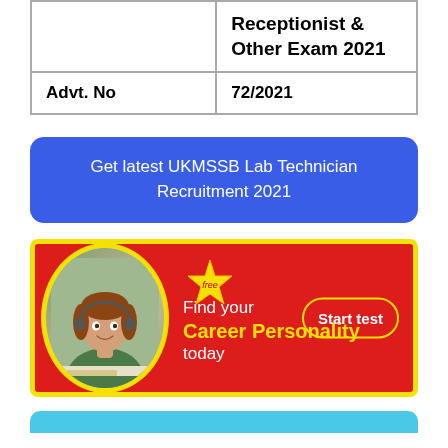|  | Receptionist & Other Exam 2021 |
| Advt. No | 72/2021 |
Get latest UKMSSB Lab Technician Recruitment 2021
[Figure (infographic): Red advertisement banner with yellow border showing a student photo in yellow oval frame, a gold star badge with 'free', text 'Find your Career Personality today' and a 'Start test' button]
[Figure (other): Light blue rounded strip at the bottom of the page]